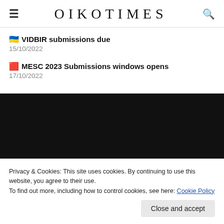OIKOTIMES
🇺🇦 VIDBIR submissions due
15/10/2022
🟥 MESC 2023 Submissions windows opens
17/10/2022
Privacy & Cookies: This site uses cookies. By continuing to use this website, you agree to their use.
To find out more, including how to control cookies, see here: Cookie Policy